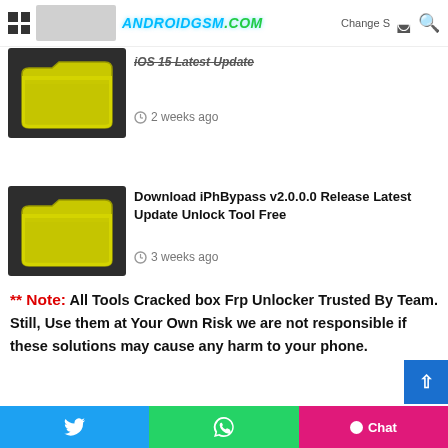ANDROIDGSM.COM  Change S  🌙  🔍
[Figure (screenshot): Yellow folder thumbnail on dark background for iOS 15 Latest Update article]
iOS 15 Latest Update
2 weeks ago
[Figure (screenshot): Yellow folder thumbnail on dark background for iPhBypass v2.0.0.0 article]
Download iPhBypass v2.0.0.0 Release Latest Update Unlock Tool Free
3 weeks ago
** Note: All Tools Cracked box Frp Unlocker Trusted By Team. Still, Use them at Your Own Risk we are not responsible if these solutions may cause any harm to your phone.
Twitter  WhatsApp  Chat